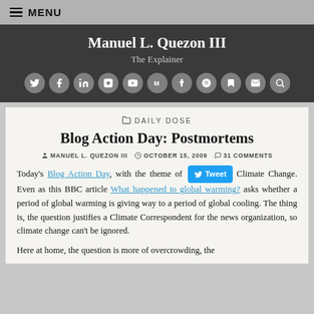MENU
Manuel L. Quezon III – The Explainer
DAILY DOSE
Blog Action Day: Postmortems
MANUEL L. QUEZON III   OCTOBER 15, 2009   31 COMMENTS
Today's Blog Action Day, with the theme of Climate Change. Even as this BBC article What happened to global warming? asks whether a period of global warming is giving way to a period of global cooling. The thing is, the question justifies a Climate Correspondent for the news organization, so climate change can't be ignored.
Here at home, the question is more of overcrowding, the